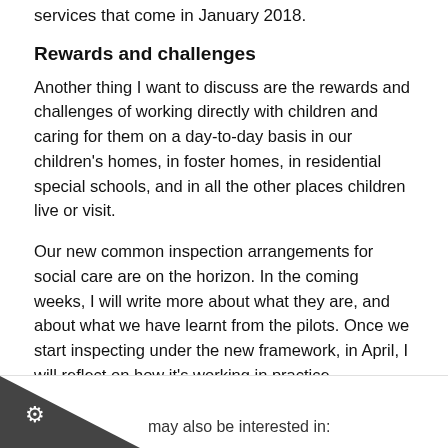services that come in January 2018.
Rewards and challenges
Another thing I want to discuss are the rewards and challenges of working directly with children and caring for them on a day-to-day basis in our children's homes, in foster homes, in residential special schools, and in all the other places children live or visit.
Our new common inspection arrangements for social care are on the horizon. In the coming weeks, I will write more about what they are, and about what we have learnt from the pilots. Once we start inspecting under the new framework, in April, I will reflect on how it's working in practice.
There will be more to say on these subjects soon. In the meantime, I would welcome your feedback and suggestions for any other topics you would like me to talk about in my future blog posts. You can, if you wish, post comments below.
may also be interested in: